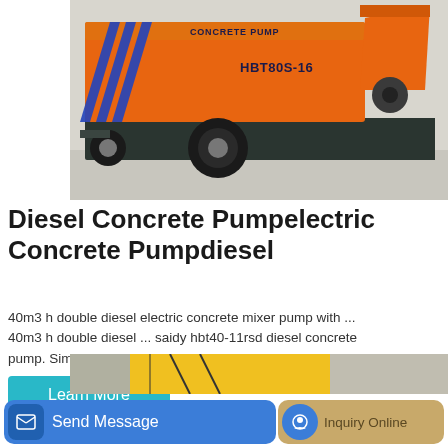[Figure (photo): Orange diesel concrete pump truck model HBT80S-16 with blue diagonal stripes on side panel, large wheel, hopper on right side, parked on concrete surface]
Diesel Concrete Pumpelectric Concrete Pumpdiesel
40m3 h double diesel electric concrete mixer pump with ... 40m3 h double diesel ... saidy hbt40-11rsd diesel concrete pump. Simply complete the form below, ...
Learn More
[Figure (photo): Partial view of yellow construction equipment at bottom of page]
Send Message | Inquiry Online